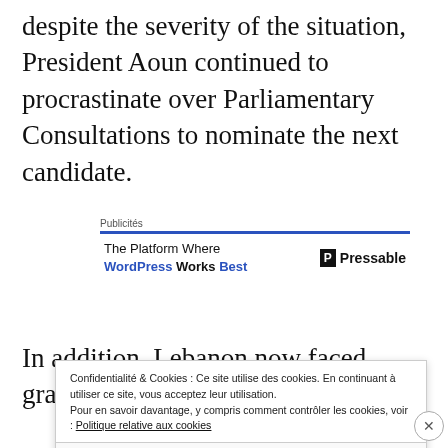despite the severity of the situation, President Aoun continued to procrastinate over Parliamentary Consultations to nominate the next candidate.
[Figure (other): Advertisement block: 'Publicités' label with blue underline. Text: 'The Platform Where WordPress Works Best' with Pressable logo on the right.]
In addition, Lebanon now faced grave difficulties
Confidentialité & Cookies : Ce site utilise des cookies. En continuant à utiliser ce site, vous acceptez leur utilisation. Pour en savoir davantage, y compris comment contrôler les cookies, voir : Politique relative aux cookies
Fermer et accepter